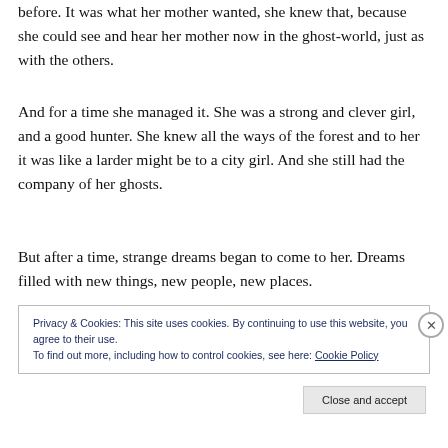before. It was what her mother wanted, she knew that, because she could see and hear her mother now in the ghost-world, just as with the others.
And for a time she managed it. She was a strong and clever girl, and a good hunter. She knew all the ways of the forest and to her it was like a larder might be to a city girl. And she still had the company of her ghosts.
But after a time, strange dreams began to come to her. Dreams filled with new things, new people, new places.
Privacy & Cookies: This site uses cookies. By continuing to use this website, you agree to their use.
To find out more, including how to control cookies, see here: Cookie Policy
Close and accept